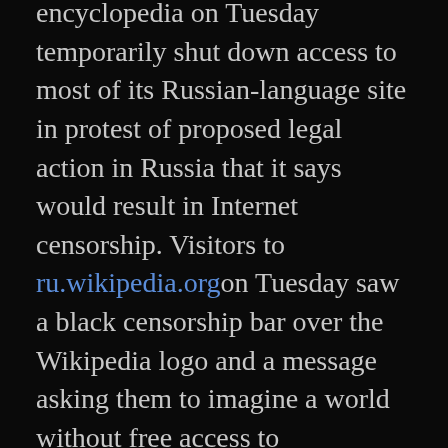encyclopedia on Tuesday temporarily shut down access to most of its Russian-language site in protest of proposed legal action in Russia that it says would result in Internet censorship. Visitors to ru.wikipedia.org on Tuesday saw a black censorship bar over the Wikipedia logo and a message asking them to imagine a world without free access to knowledge. In January, Wikipedia shut down its English sites for 24 hours in protest of anti-piracy laws that were being discussed in the U.S. Congress.
That action was cited as evidence of a new wave of political power for the technology and Internet industries. Google and others joined in that